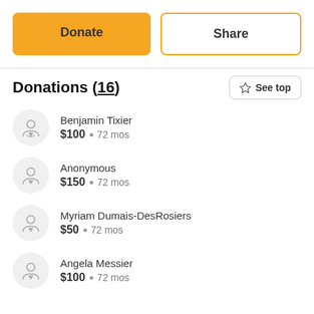Donate
Share
Donations (16)
See top
Benjamin Tixier · $100 · 72 mos
Anonymous · $150 · 72 mos
Myriam Dumais-DesRosiers · $50 · 72 mos
Angela Messier · $100 · 72 mos